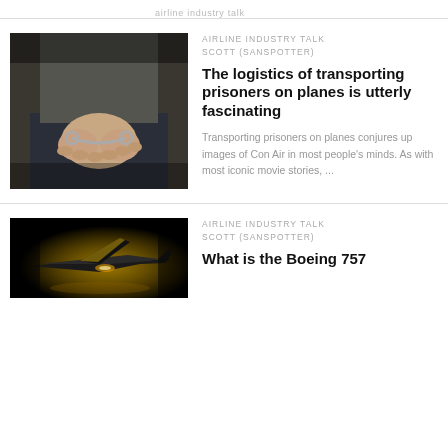airline industry talk
[Figure (photo): Hands behind a person's back with handcuffs/chain]
AIRLINE INDUSTRY TALK
SCOTT (SANSPOTTER)
The logistics of transporting prisoners on planes is utterly fascinating
Transporting prisoners on planes conjures up images of Con Air in most people's minds. As with most iconic movie stories, ...
[Figure (photo): Dark dramatic image of a Boeing 757 aircraft with yellow/gold lighting]
AIRLINE INDUSTRY TALK
SCOTT (SANSPOTTER)
What is the Boeing 757